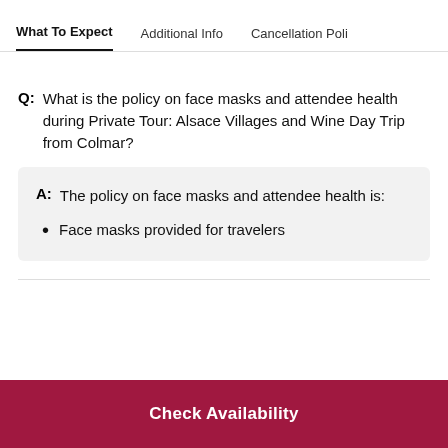What To Expect | Additional Info | Cancellation Poli
Q: What is the policy on face masks and attendee health during Private Tour: Alsace Villages and Wine Day Trip from Colmar?
A: The policy on face masks and attendee health is:
Face masks provided for travelers
Check Availability